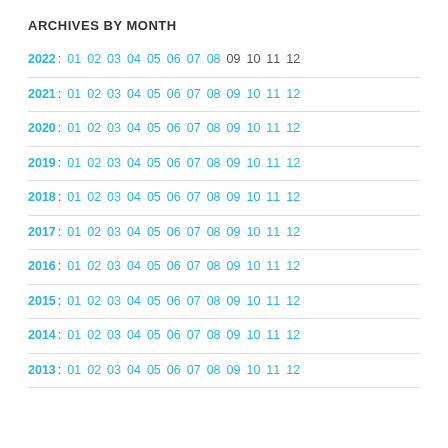ARCHIVES BY MONTH
2022: 01 02 03 04 05 06 07 08 09 10 11 12
2021: 01 02 03 04 05 06 07 08 09 10 11 12
2020: 01 02 03 04 05 06 07 08 09 10 11 12
2019: 01 02 03 04 05 06 07 08 09 10 11 12
2018: 01 02 03 04 05 06 07 08 09 10 11 12
2017: 01 02 03 04 05 06 07 08 09 10 11 12
2016: 01 02 03 04 05 06 07 08 09 10 11 12
2015: 01 02 03 04 05 06 07 08 09 10 11 12
2014: 01 02 03 04 05 06 07 08 09 10 11 12
2013: 01 02 03 04 05 06 07 08 09 10 11 12